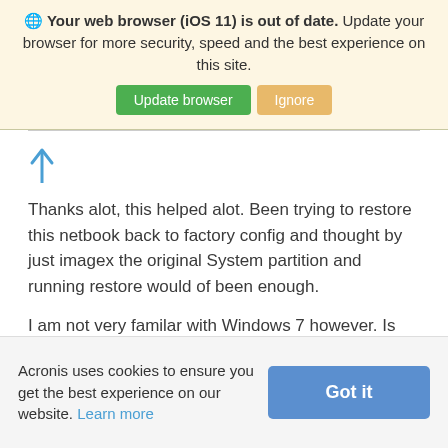Your web browser (iOS 11) is out of date. Update your browser for more security, speed and the best experience on this site.
[Figure (screenshot): Two buttons: green 'Update browser' and tan/orange 'Ignore']
[Figure (illustration): Blue upward arrow (upvote icon)]
Thanks alot, this helped alot. Been trying to restore this netbook back to factory config and thought by just imagex the original System partition and running restore would of been enough.
I am not very familar with Windows 7 however. Is
Acronis uses cookies to ensure you get the best experience on our website. Learn more
[Figure (screenshot): Blue 'Got it' button for cookie consent]